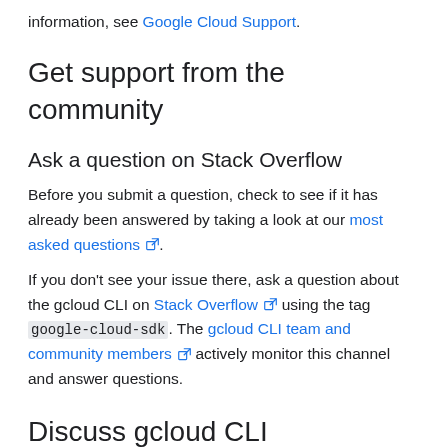information, see Google Cloud Support.
Get support from the community
Ask a question on Stack Overflow
Before you submit a question, check to see if it has already been answered by taking a look at our most asked questions ↗.
If you don't see your issue there, ask a question about the gcloud CLI on Stack Overflow ↗ using the tag google-cloud-sdk . The gcloud CLI team and community members ↗ actively monitor this channel and answer questions.
Discuss gcloud CLI